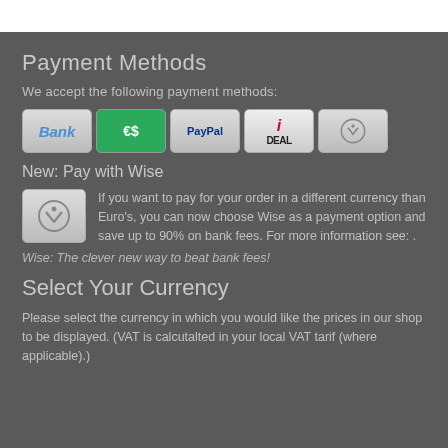Payment Methods
We accept the following payment methods:
[Figure (illustration): Five payment method icons: Bank, Euro (€$), PayPal, iDEAL, and Wise]
New: Pay with Wise
If you want to pay for your order in a different currency than Euro's, you can now choose Wise as a payment option and save up to 90% on bank fees. For more information see: .
Wise: The clever new way to beat bank fees!
Select Your Currency
Please select the currency in which you would like the prices in our shop to be displayed. (VAT is calcutalted in your local VAT tarif (where applicable).